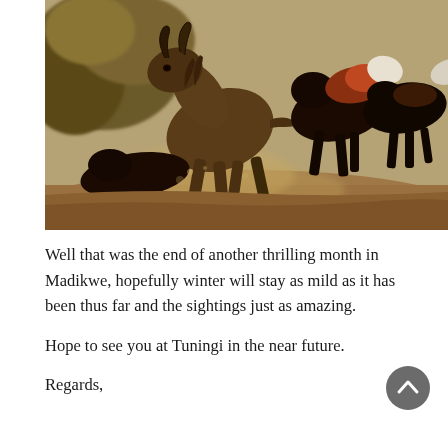[Figure (photo): Wildlife photograph showing a wildebeest being attacked by a pack of African wild dogs in a dusty, dry African bush setting. The wildebeest is central with horns visible, surrounded by several wild dogs with distinctive black, white, and reddish coats.]
Well that was the end of another thrilling month in Madikwe, hopefully winter will stay as mild as it has been thus far and the sightings just as amazing.
Hope to see you at Tuningi in the near future.
Regards,